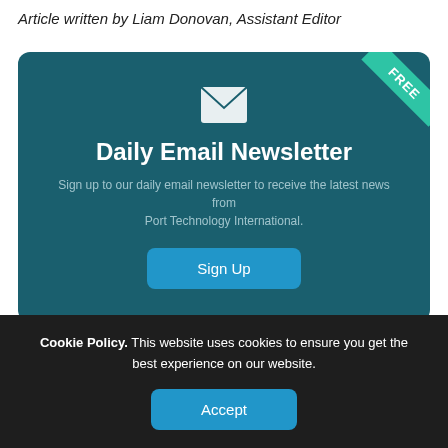Article written by Liam Donovan, Assistant Editor
[Figure (infographic): Daily Email Newsletter signup card with teal background, envelope icon, FREE ribbon in top-right corner, title 'Daily Email Newsletter', description text, and a 'Sign Up' button]
Cookie Policy. This website uses cookies to ensure you get the best experience on our website.